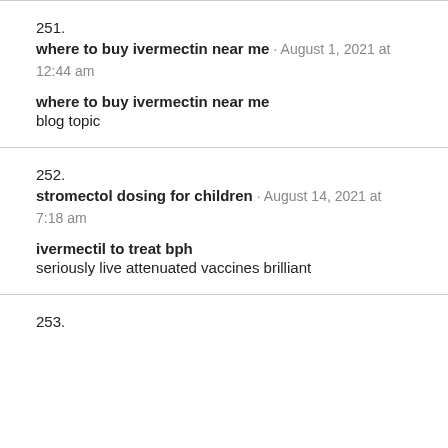251.
where to buy ivermectin near me · August 1, 2021 at 12:44 am
where to buy ivermectin near me
blog topic
252.
stromectol dosing for children · August 14, 2021 at 7:18 am
ivermectil to treat bph
seriously live attenuated vaccines brilliant
253.